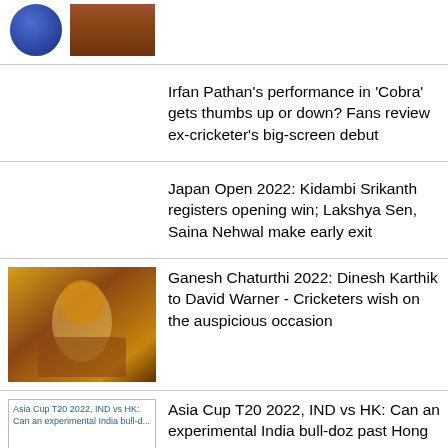[Figure (photo): Two logos at top: a circular blue BCCI-style cricket logo and a building/institution logo]
Irfan Pathan's performance in 'Cobra' gets thumbs up or down? Fans review ex-cricketer's big-screen debut
Japan Open 2022: Kidambi Srikanth registers opening win; Lakshya Sen, Saina Nehwal make early exit
Ganesh Chaturthi 2022: Dinesh Karthik to David Warner - Cricketers wish on the auspicious occasion
Asia Cup T20 2022, IND vs HK: Can an experimental India bull-doz past Hong Kong?
RECENT STORIES
Bikini pictures: Is Kim Kardashian wearing